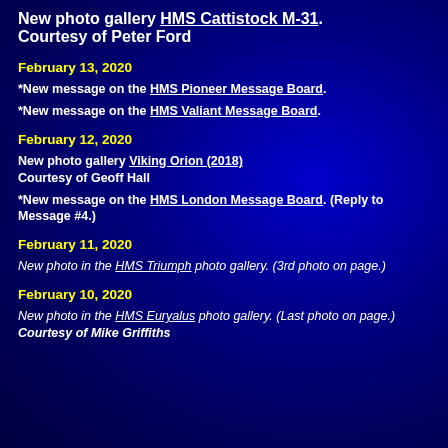New photo gallery HMS Cattistock M-31. Courtesy of Peter Ford
February 13, 2020
*New message on the HMS Pioneer Message Board.
*New message on the HMS Valiant Message Board.
February 12, 2020
New photo gallery Viking Orion (2018) Courtesy of Geoff Hall
*New message on the HMS London Message Board. (Reply to Message #4.)
February 11, 2020
New photo in the HMS Triumph photo gallery. (3rd photo on page.)
February 10, 2020
New photo in the HMS Euryalus photo gallery. (Last photo on page.) Courtesy of Mike Griffiths